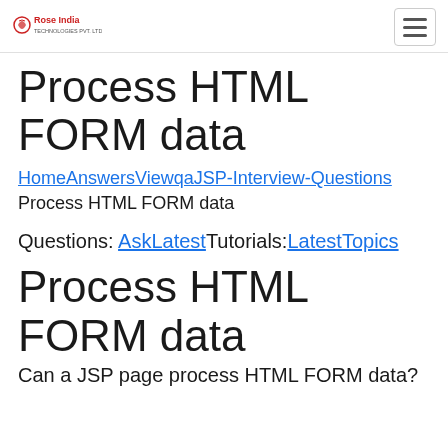Rose India [logo] [hamburger menu]
Process HTML FORM data
HomeAnswersViewqaJSP-Interview-Questions
Process HTML FORM data
Questions: AskLatestTutorials:LatestTopics
Process HTML FORM data
Can a JSP page process HTML FORM data?